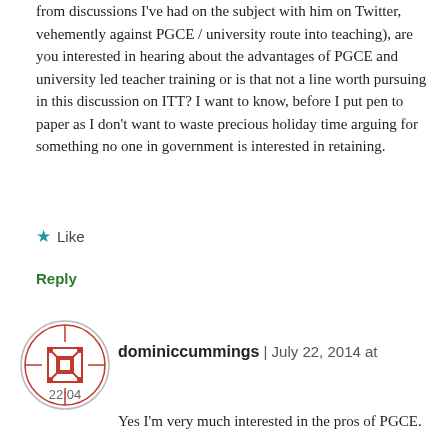from discussions I've had on the subject with him on Twitter, vehemently against PGCE / university route into teaching), are you interested in hearing about the advantages of PGCE and university led teacher training or is that not a line worth pursuing in this discussion on ITT? I want to know, before I put pen to paper as I don't want to waste precious holiday time arguing for something no one in government is interested in retaining.
Like
Reply
dominiccummings | July 22, 2014 at 22:04
Yes I'm very much interested in the pros of PGCE.